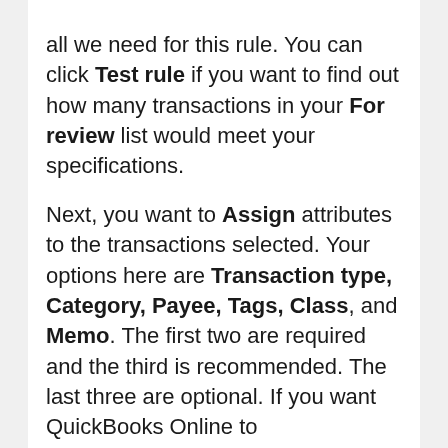all we need for this rule. You can click Test rule if you want to find out how many transactions in your For review list would meet your specifications.

Next, you want to Assign attributes to the transactions selected. Your options here are Transaction type, Category, Payee, Tags, Class, and Memo. The first two are required and the third is recommended. The last three are optional. If you want QuickBooks Online to automatically confirm transactions this rule applies to, click the Auto-confirm button so it's showing green. If you choose this option, your matching transactions will be modified to meet your criteria and moved